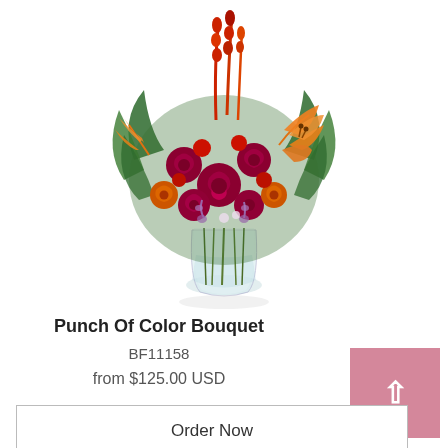[Figure (photo): Colorful flower bouquet with red roses, orange lilies, and fern leaves in a clear glass vase against a white background — Punch Of Color Bouquet]
Punch Of Color Bouquet
BF11158
from $125.00 USD
Order Now
[Figure (photo): Partially visible second flower arrangement at the bottom of the page — autumn foliage and fern arrangement]